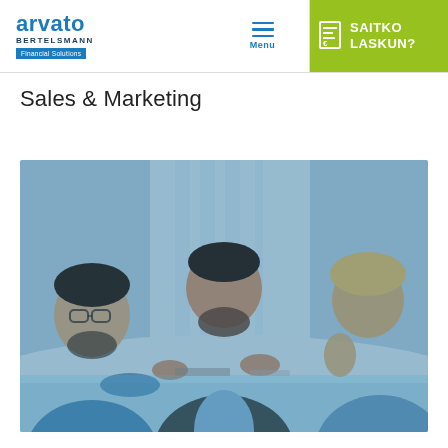[Figure (logo): Arvato Bertelsmann Financial Solutions logo in the header]
[Figure (infographic): Hamburger menu icon with 'Menu' label below, in blue]
[Figure (infographic): Invoice icon with text 'SAITKO LASKUN?' on green/lime background]
Sales & Marketing
[Figure (photo): Business meeting photo with blue tint overlay showing three people sitting at a conference table discussing, man in center gesturing with hands, blue-toned professional setting]